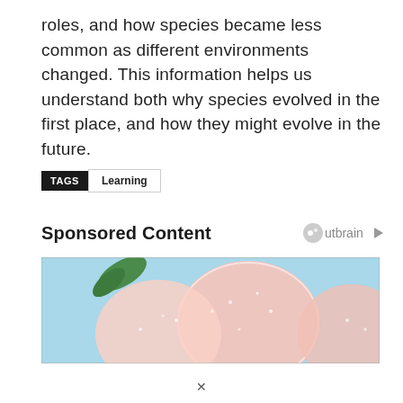roles, and how species became less common as different environments changed. This information helps us understand both why species evolved in the first place, and how they might evolve in the future.
TAGS  Learning
Sponsored Content
[Figure (photo): Close-up photo of frosted or sugar-coated peach-like fruits against a blue background, with a green leaf visible]